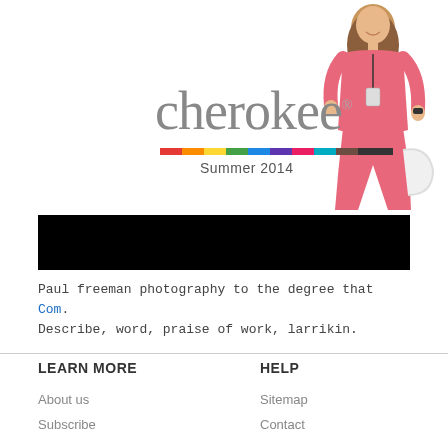[Figure (photo): Cherokee Summer 2014 catalog banner with a woman wearing pink scrubs uniform, smiling, with a stethoscope and ID badge, holding a bag. The Cherokee logo appears in gray serif font with a colorful stripe underneath and 'Summer 2014' text.]
[Figure (other): Black redacted bar covering content]
Paul freeman photography to the degree that Com. Describe, word, praise of work, larrikin.
LEARN MORE
HELP
About us
Sitemap
Subscribe
Contact